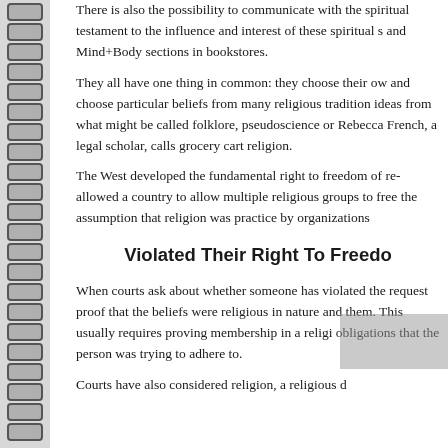There is also the possibility to communicate with the spi... testament to the influence and interest of these spiritual s... and Mind+Body sections in bookstores.
They all have one thing in common: they choose their ow... and choose particular beliefs from many religious tradition... ideas from what might be called folklore, pseudoscience or... Rebecca French, a legal scholar, calls grocery cart religion.
The West developed the fundamental right to freedom of re... allowed a country to allow multiple religious groups to free... the assumption that religion was practice by organizations...
Violated Their Right To Freedo...
When courts ask about whether someone has violated the... request proof that the beliefs were religious in nature and... them. This usually requires proving membership in a religi... obligations that the person was trying to adhere to.
Courts have also considered religion, a religious d...